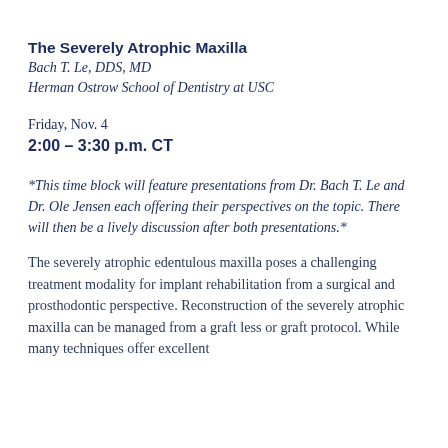The Severely Atrophic Maxilla
Bach T. Le, DDS, MD
Herman Ostrow School of Dentistry at USC
Friday, Nov. 4
2:00 – 3:30 p.m. CT
*This time block will feature presentations from Dr. Bach T. Le and Dr. Ole Jensen each offering their perspectives on the topic. There will then be a lively discussion after both presentations.*
The severely atrophic edentulous maxilla poses a challenging treatment modality for implant rehabilitation from a surgical and prosthodontic perspective. Reconstruction of the severely atrophic maxilla can be managed from a graft less or graft protocol. While many techniques offer excellent